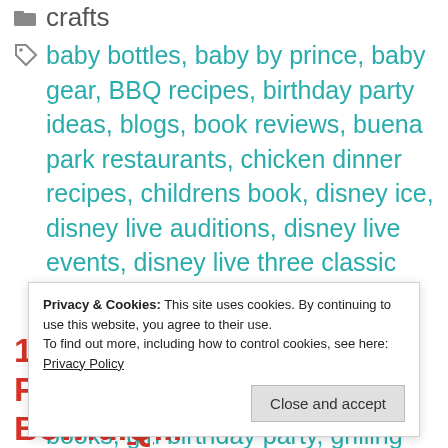crafts
baby bottles, baby by prince, baby gear, BBQ recipes, birthday party ideas, blogs, book reviews, buena park restaurants, chicken dinner recipes, childrens book, disney ice, disney live auditions, disney live events, disney live three classic fairytales, disney on ice 2012, engineering for kids, experiments for kids, family review guide, fettuccini alfredo recipe, funny books, girl birthday party, grilling fish, grilling steak, grilling tips, how to measure trampoline, kids engineering, legos, radio c...
Privacy & Cookies: This site uses cookies. By continuing to use this website, you agree to their use.
To find out more, including how to control cookies, see here: Privacy Policy
10 Grilling Essentials From BowfulQ...